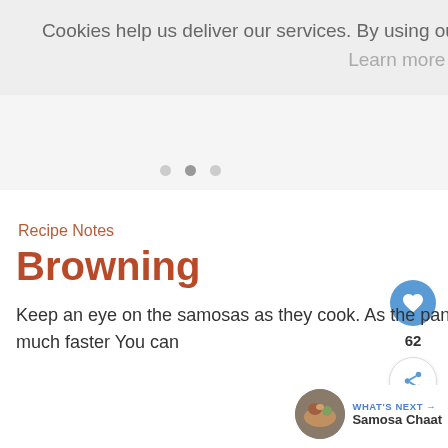Cookies help us deliver our services. By using our services, you agree to our use of cookies. Learn more  Got it
[Figure (screenshot): Carousel dot navigation indicators, three dots with middle one slightly darker]
[Figure (screenshot): White content area, blank image placeholder]
[Figure (screenshot): Blue circular heart/favorite button with heart icon and count 62 below, and a circular share button]
Recipe Notes
Browning
Keep an eye on the samosas as they cook. As the pan gets hotter, they begin to brown much faster You can
[Figure (screenshot): WHAT'S NEXT arrow label in blue, Samosa Chaat text, circular food thumbnail image]